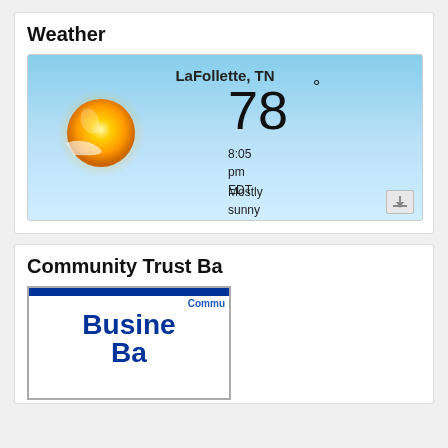Weather
[Figure (screenshot): Weather widget showing LaFollette, TN with a sunny icon, temperature 78°, time 8:05 pm EDT, condition Mostly sunny, on a light blue gradient background.]
Community Trust Ba
[Figure (screenshot): Community Trust Bank advertisement showing 'Commu... Business Ba...' partially visible, blue text on white background.]
[Figure (screenshot): Popup overlay for Lindsay's Carpet & Paint Center advertisement with play button, paw print logo, address 110 E Central Ave., Call: 423-562-6683, and a close X button.]